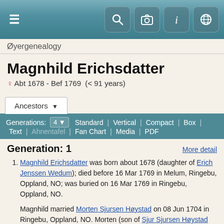Øyergenealogy
Magnhild Erichsdatter
♀ Abt 1678 - Bef 1769  (< 91 years)
Generation: 1
More detail
Magnhild Erichsdatter was born about 1678 (daughter of Erich Jenssen Wedum); died before 16 Mar 1769 in Melum, Ringebu, Oppland, NO; was buried on 16 Mar 1769 in Ringebu, Oppland, NO.
Magnhild married Morten Sjursen Høystad on 08 Jun 1704 in Ringebu, Oppland, NO. Morten (son of Sjur Sjursen Høystad and Kari Jørgensdatter) was born about 1674 in Høystad, Ringebu, Oppland, NO; died before 02 Jul 1756 in Stivelen,